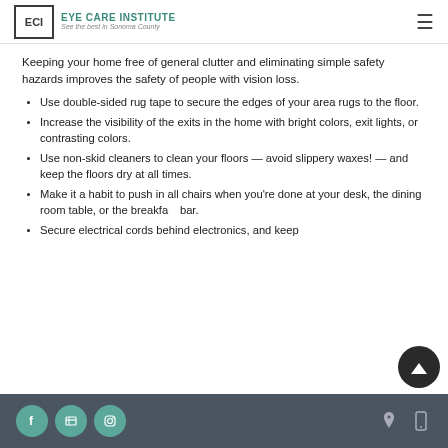ECI EYE CARE INSTITUTE See the best in Sonoma County
Keeping your home free of general clutter and eliminating simple safety hazards improves the safety of people with vision loss.
Use double-sided rug tape to secure the edges of your area rugs to the floor.
Increase the visibility of the exits in the home with bright colors, exit lights, or contrasting colors.
Use non-skid cleaners to clean your floors — avoid slippery waxes! — and keep the floors dry at all times.
Make it a habit to push in all chairs when you're done at your desk, the dining room table, or the breakfast bar.
Secure electrical cords behind electronics, and keep
Social media icons and navigation icons